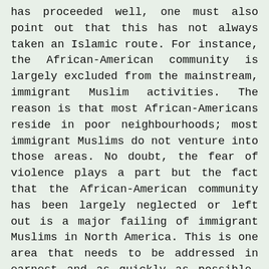has proceeded well, one must also point out that this has not always taken an Islamic route. For instance, the African-American community is largely excluded from the mainstream, immigrant Muslim activities. The reason is that most African-Americans reside in poor neighbourhoods; most immigrant Muslims do not venture into those areas. No doubt, the fear of violence plays a part but the fact that the African-American community has been largely neglected or left out is a major failing of immigrant Muslims in North America. This is one area that needs to be addressed in earnest and as quickly as possible. The most committed Muslims are not given the kind of care and respect that they deserve.
In a very real sense, the African-American community is the most dynamic and has the greatest potential to advance the cause of Islam. Close relations with it,